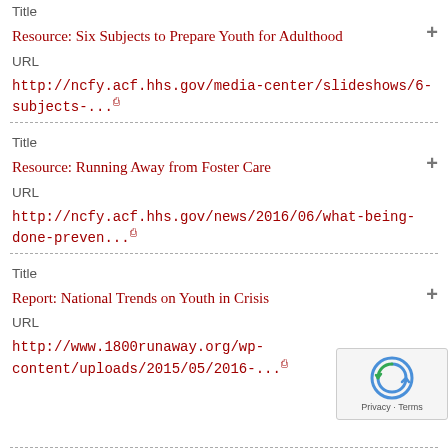Title
Resource: Six Subjects to Prepare Youth for Adulthood
URL
http://ncfy.acf.hhs.gov/media-center/slideshows/6-subjects-...
Title
Resource: Running Away from Foster Care
URL
http://ncfy.acf.hhs.gov/news/2016/06/what-being-done-preven...
Title
Report: National Trends on Youth in Crisis
URL
http://www.1800runaway.org/wp-content/uploads/2015/05/2016-...